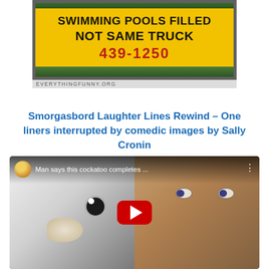[Figure (photo): Funny sign on yellow background reading SWIMMING POOLS FILLED NOT SAME TRUCK 439-1250, with EVERYTHINGFUNNY.ORG watermark, set against trees]
Smorgasbord Laughter Lines Rewind – One liners interrupted by comedic images by Sally Cronin
[Figure (screenshot): YouTube video thumbnail showing a white cockatoo and a man with wide eyes, title: Man says this cockatoo completes ...]